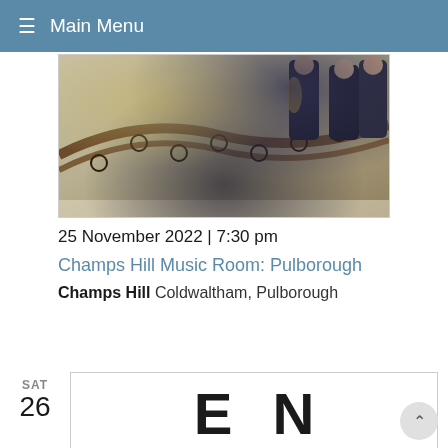≡ Main Menu
[Figure (photo): Musicians in formal attire on an ornate wrought-iron staircase with decorative scrollwork railings]
25 November 2022 | 7:30 pm
Champs Hill Music Room: Pulborough
Champs Hill Coldwaltham, Pulborough
SAT
26
[Figure (illustration): Large bold letters spelling ENSEM partially visible - E N on top row, S E M on bottom row, in large block typography]